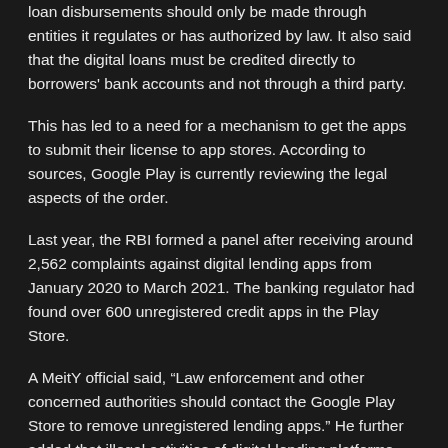loan disbursements should only be made through entities it regulates or has authorized by law. It also said that the digital loans must be credited directly to borrowers' bank accounts and not through a third party.
This has led to a need for a mechanism to get the apps to submit their license to app stores. According to sources, Google Play is currently reviewing the legal aspects of the order.
Last year, the RBI formed a panel after receiving around 2,562 complaints against digital lending apps from January 2020 to March 2021. The banking regulator had found over 600 unregistered credit apps in the Play Store.
A MeitY official said, “Law enforcement and other concerned authorities should contact the Google Play Store to remove unregistered lending apps.” He further added that illegal activities of digital lending platforms are already subject to sections of the Indian Penal Code. “Such apps can only be switched off on a case-by-case basis,” he said.
The mobile lending apps, which offer instant personal loans from a few hundred rupees to around Rs 10,000, are also known as “Chinese lending apps” due to their small-scale financing business model. Investigative authorities have found that many of these apps illegally offer loans with